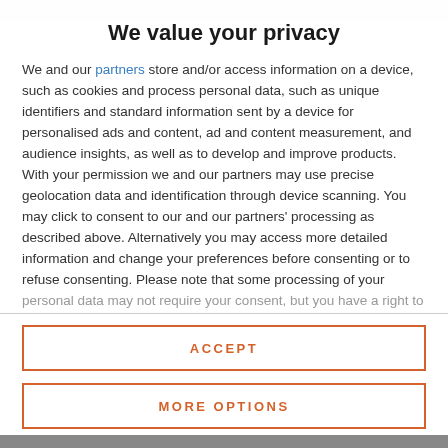We value your privacy
We and our partners store and/or access information on a device, such as cookies and process personal data, such as unique identifiers and standard information sent by a device for personalised ads and content, ad and content measurement, and audience insights, as well as to develop and improve products. With your permission we and our partners may use precise geolocation data and identification through device scanning. You may click to consent to our and our partners' processing as described above. Alternatively you may access more detailed information and change your preferences before consenting or to refuse consenting. Please note that some processing of your personal data may not require your consent, but you have a right to
ACCEPT
MORE OPTIONS